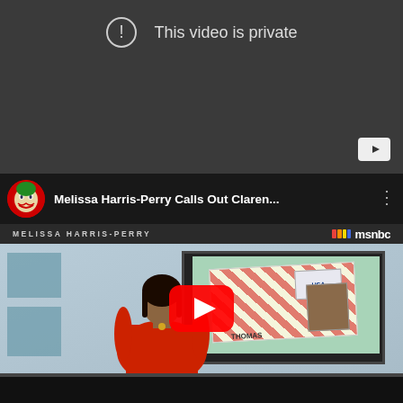[Figure (screenshot): YouTube embedded video player showing 'This video is private' error message on a dark gray background with a YouTube logo button in the bottom right corner.]
[Figure (screenshot): YouTube video player showing 'Melissa Harris-Perry Calls Out Claren...' with a Joker-avatar channel icon, MSNBC lower-third bar, and a thumbnail of a news anchor in a red dress with a play button overlay. The thumbnail background shows an MSNBC set with a graphic of a USA-stamped envelope and a photo of Clarence Thomas labeled 'THOMAS'.]